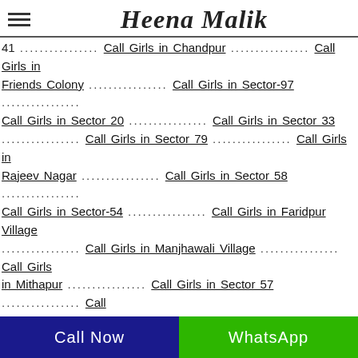Heena Malik
41 .............. Call Girls in Chandpur .............. Call Girls in Friends Colony .............. Call Girls in Sector-97 .............. Call Girls in Sector 20 .............. Call Girls in Sector 33 .............. Call Girls in Sector 79 .............. Call Girls in Rajeev Nagar .............. Call Girls in Sector 58 .............. Call Girls in Sector-54 .............. Call Girls in Faridpur Village .............. Call Girls in Manjhawali Village .............. Call Girls in Mithapur .............. Call Girls in Sector 57 .............. Call Girls in Hardware Colony .............. Call Girls in Nehru Colony .............. Call Girls in Sector 27 .............. Call Girls in Sector 59 .............. Call Girls in Gazipur .............. Call Girls in Dhouj .............. Call Girls in Bhatia Colony .............. Call Girls in Gurukul Road .............. Call Girls in Industrial Area .............. Call Girls in Neelam Chowk .............. Call Girls in
Call Now | WhatsApp